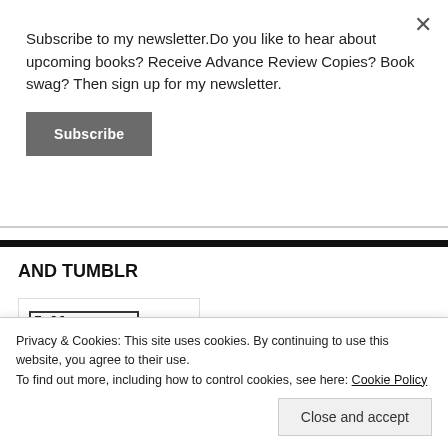Subscribe to my newsletter.Do you like to hear about upcoming books? Receive Advance Review Copies? Book swag? Then sign up for my newsletter.
Subscribe
AND TUMBLR
[Figure (screenshot): Tumblr follow button widget showing 'Follow me on' text with Tumblr logo]
Privacy & Cookies: This site uses cookies. By continuing to use this website, you agree to their use.
To find out more, including how to control cookies, see here: Cookie Policy
Close and accept
AND YOUTUBE